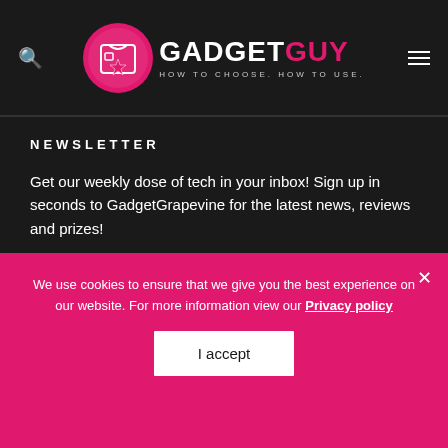GadgetGuy — HOW TO CHOOSE. HOW TO USE.
NEWSLETTER
Get our weekly dose of tech in your inbox! Sign up in seconds to GadgetGrapevine for the latest news, reviews and prizes!
Your email address
SIGN UP
We use cookies to ensure that we give you the best experience on our website. For more information view our Privacy policy
I accept